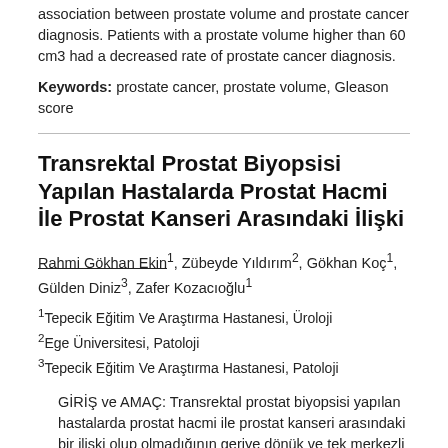association between prostate volume and prostate cancer diagnosis. Patients with a prostate volume higher than 60 cm3 had a decreased rate of prostate cancer diagnosis.
Keywords: prostate cancer, prostate volume, Gleason score
Transrektal Prostat Biyopsisi Yapılan Hastalarda Prostat Hacmi İle Prostat Kanseri Arasındaki İlişki
Rahmi Gökhan Ekin1, Zübeyde Yıldırım2, Gökhan Koç1, Gülden Diniz3, Zafer Kozacıoğlu1
1Tepecik Eğitim Ve Araştırma Hastanesi, Üroloji
2Ege Üniversitesi, Patoloji
3Tepecik Eğitim Ve Araştırma Hastanesi, Patoloji
GİRİŞ ve AMAÇ: Transrektal prostat biyopsisi yapılan hastalarda prostat hacmi ile prostat kanseri arasındaki bir iliski olup olmadığının geriye dönük ve tek merkezli